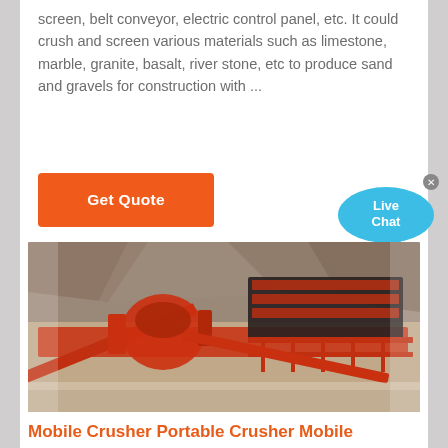screen, belt conveyor, electric control panel, etc. It could crush and screen various materials such as limestone, marble, granite, basalt, river stone, etc to produce sand and gravels for construction with ...
[Figure (other): Orange 'Get Quote' button]
[Figure (other): Live Chat bubble widget in blue with close X button]
[Figure (photo): Photo of a mobile crusher / portable crusher machine with red conveyor belts and scaffolding in a quarry setting]
Mobile Crusher Portable Crusher Mobile